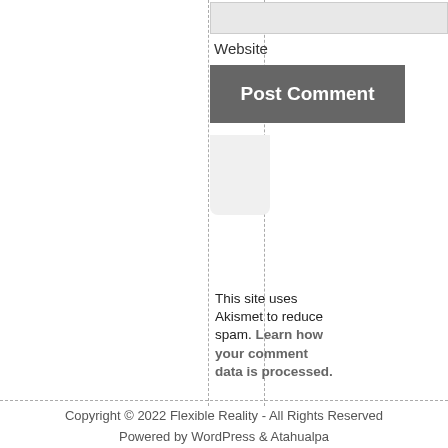Website
Post Comment
This site uses Akismet to reduce spam. Learn how your comment data is processed.
Copyright © 2022 Flexible Reality - All Rights Reserved
Powered by WordPress & Atahualpa